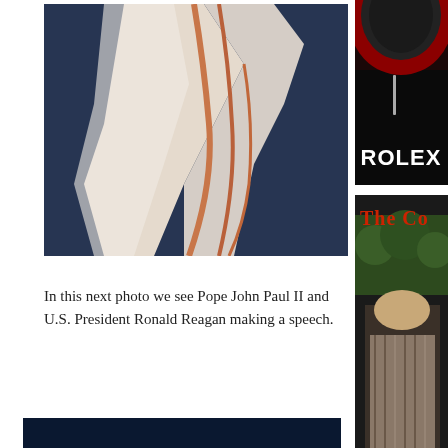[Figure (photo): Close-up photo showing draped fabric or clothing with white and reddish-orange tones against a dark blue background]
[Figure (photo): Rolex watch advertisement showing watch dial and the word ROLEX in bold white text on black background]
[Figure (photo): Partially visible magazine or book cover with red text 'The Co...' and a figure in the lower portion]
In this next photo we see Pope John Paul II and U.S. President Ronald Reagan making a speech.
[Figure (photo): Bottom portion of a photo showing a dark blue background, beginning of another image]